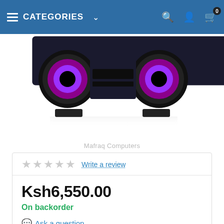CATEGORIES
[Figure (photo): Product photo of a speaker/boombox with purple speaker cones, dark body, partially cropped at top]
Mafraq Computers
★★★★★  Write a review
Ksh6,550.00
On backorder
💬 Ask a question
Return period:    10 days